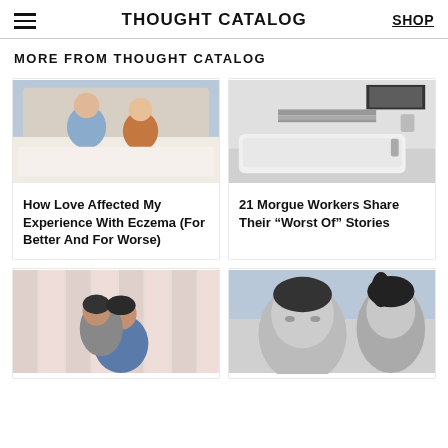THOUGHT CATALOG | SHOP
MORE FROM THOUGHT CATALOG
[Figure (photo): Couple sitting on a bed smiling at each other]
How Love Affected My Experience With Eczema (For Better And For Worse)
[Figure (photo): Black and white photo of a morgue/hospital bath or examination table]
21 Morgue Workers Share Their “Worst Of” Stories
[Figure (photo): Couple hugging, woman resting head on man's shoulder, soft pink background]
[Figure (photo): Asian man and woman, black and white photo, close together]